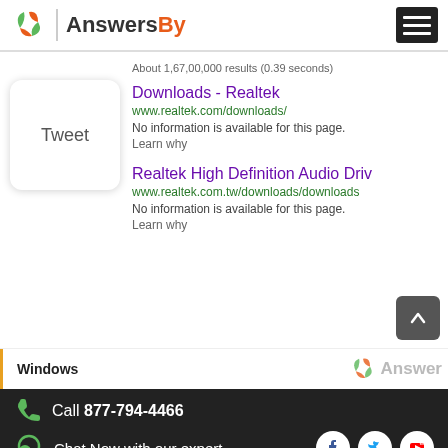AnswersBy
About 1,67,00,000 results (0.39 seconds)
Tweet
Downloads - Realtek
www.realtek.com/downloads/
No information is available for this page.
Learn why
Realtek High Definition Audio Driv...
www.realtek.com.tw/downloads/downloads...
No information is available for this page.
Learn why
Windows
Call 877-794-4466
Chat Now with our expert